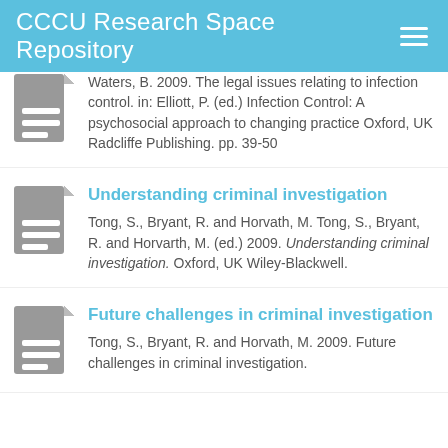CCCU Research Space Repository
Waters, B. 2009. The legal issues relating to infection control. in: Elliott, P. (ed.) Infection Control: A psychosocial approach to changing practice Oxford, UK Radcliffe Publishing. pp. 39-50
Understanding criminal investigation
Tong, S., Bryant, R. and Horvath, M. Tong, S., Bryant, R. and Horvarth, M. (ed.) 2009. Understanding criminal investigation. Oxford, UK Wiley-Blackwell.
Future challenges in criminal investigation
Tong, S., Bryant, R. and Horvath, M. 2009. Future challenges in criminal investigation.